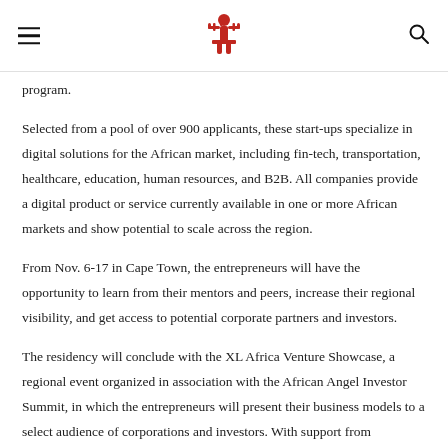[Logo] XL Africa
program.
Selected from a pool of over 900 applicants, these start-ups specialize in digital solutions for the African market, including fin-tech, transportation, healthcare, education, human resources, and B2B. All companies provide a digital product or service currently available in one or more African markets and show potential to scale across the region.
From Nov. 6-17 in Cape Town, the entrepreneurs will have the opportunity to learn from their mentors and peers, increase their regional visibility, and get access to potential corporate partners and investors.
The residency will conclude with the XL Africa Venture Showcase, a regional event organized in association with the African Angel Investor Summit, in which the entrepreneurs will present their business models to a select audience of corporations and investors. With support from